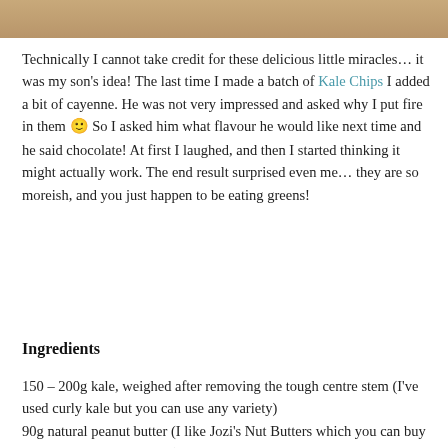[Figure (photo): Photo strip at top of page showing food item]
Technically I cannot take credit for these delicious little miracles… it was my son's idea! The last time I made a batch of Kale Chips I added a bit of cayenne. He was not very impressed and asked why I put fire in them 🙂 So I asked him what flavour he would like next time and he said chocolate! At first I laughed, and then I started thinking it might actually work. The end result surprised even me… they are so moreish, and you just happen to be eating greens!
Ingredients
150 – 200g kale, weighed after removing the tough centre stem (I've used curly kale but you can use any variety)
90g natural peanut butter (I like Jozi's Nut Butters which you can buy at The Organic Emporium)
2 tbsp organic maple syrup
1/2 tsp organic stevia leaf powder (or double up on the maple